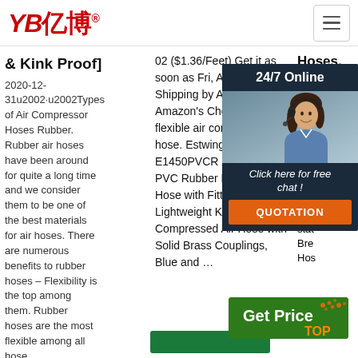YB亿博® [header with hamburger menu]
& Kink Proof]
2020-12-31u2002·u2002Types of Air Compressor Hoses Rubber. Rubber air hoses have been around for quite a long time and we consider them to be one of the best materials for air hoses. There are numerous benefits to rubber hoses – Flexibility is the top among them. Rubber hoses are the most flexible among all hose ...
02 ($1.36/Feet) Get it as soon as Fri, Aug 13. FREE Shipping by Amazon. Amazon's Choice. for flexible air compressor hose. Estwing E1450PVCR 1/4' x 50' PVC Rubber Hybrid Air Hose with Fittings Lightweight Kink-Resistant Compressed Air Hose with Solid Brass Couplings, Blue and ...
Hoses, Hose ...
[Figure (photo): Customer service agent woman wearing headset, with 24/7 Online label and dark background chat widget including QUOTATION button]
[Figure (other): Get Price button in green with orange TOP text decoration]